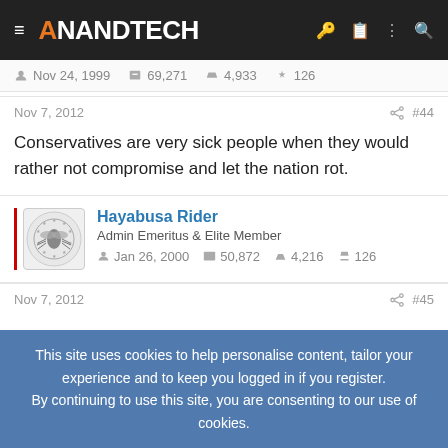AnandTech
Nov 24, 1999  69,271  4,933  126
Nov 7, 2012  #44
Conservatives are very sick people when they would rather not compromise and let the nation rot.
Hayabusa Rider
Admin Emeritus & Elite Member
Jan 26, 2000  50,872  4,216  126
Nov 7, 2012  #45
This site uses cookies to help personalise content, tailor your experience and to keep you logged in if you register.
By continuing to use this site, you are consenting to our use of cookies.